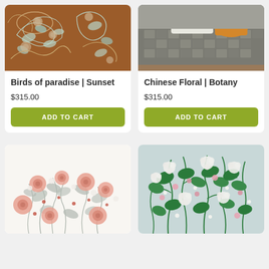[Figure (photo): Brown floral wallpaper pattern with blue and white botanical motifs - Birds of paradise Sunset product image]
Birds of paradise | Sunset
$315.00
ADD TO CART
[Figure (photo): Gray quilted bed with orange pillow - Chinese Floral Botany product lifestyle image]
Chinese Floral | Botany
$315.00
ADD TO CART
[Figure (photo): White background floral pattern with pink and gray flowers]
[Figure (photo): Light blue background with green and pink floral botanical pattern]